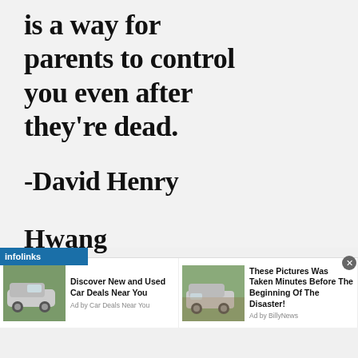is a way for parents to control you even after they’re dead.
-David Henry Hwang
[Figure (screenshot): Infolinks ad bar with two sponsored car advertisements at the bottom of the page]
Discover New and Used Car Deals Near You
Ad by Car Deals Near You
These Pictures Was Taken Minutes Before The Beginning Of The Disaster!
Ad by BillyNews